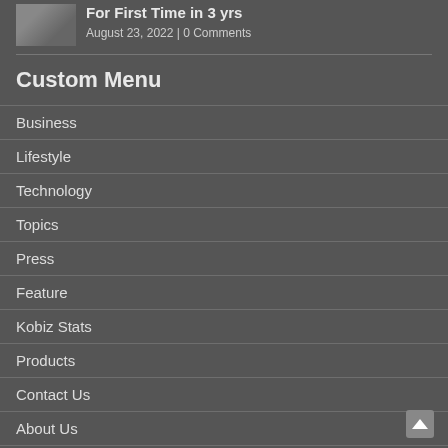For First Time in 3 yrs
August 23, 2022 | 0 Comments
Custom Menu
Business
Lifestyle
Technology
Topics
Press
Feature
Kobiz Stats
Products
Contact Us
About Us